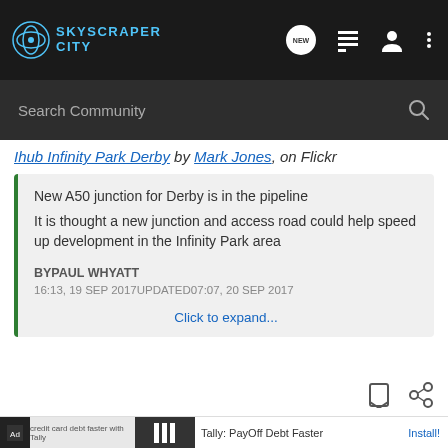[Figure (screenshot): SkyscraperCity website navigation bar with logo, NEW chat bubble icon, list icon, user icon, and more options icon]
[Figure (screenshot): Search Community input bar with magnifying glass icon on dark background]
Ihub Infinity Park Derby by Mark Jones, on Flickr
New A50 junction for Derby is in the pipeline
It is thought a new junction and access road could help speed up development in the Infinity Park area

BYPAUL WHYATT
16:13, 19 SEP 2017UPDATED07:07, 20 SEP 2017
Click to expand...
[Figure (screenshot): Bookmark and share action icons]
Ad  Tally: PayOff Debt Faster  Install!